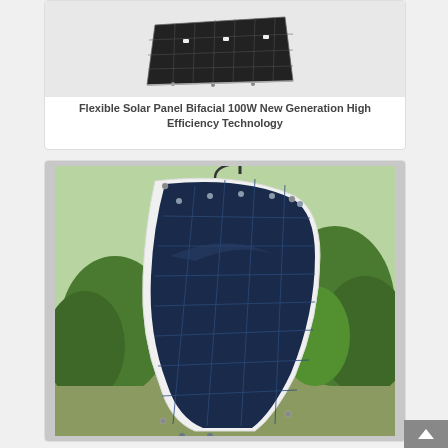[Figure (photo): Flexible solar panel bifacial 100W - top view showing black solar cells on white background]
Flexible Solar Panel Bifacial 100W New Generation High Efficiency Technology
[Figure (photo): Flexible solar panel bent/curved outdoors with green trees in background]